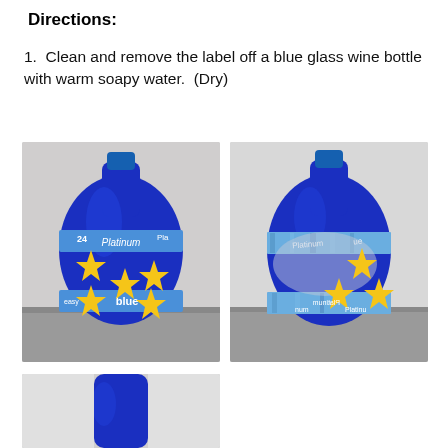Directions:
1.  Clean and remove the label off a blue glass wine bottle with warm soapy water.  (Dry)
[Figure (photo): Two side-by-side photos of blue glass wine bottles wrapped with blue paper towel labels. Left bottle shows front with yellow stars on the blue bottle. Right bottle shows the back/side with stars and wrinkled wet label.]
[Figure (photo): Partial bottom photo showing the base/neck of a blue glass wine bottle.]